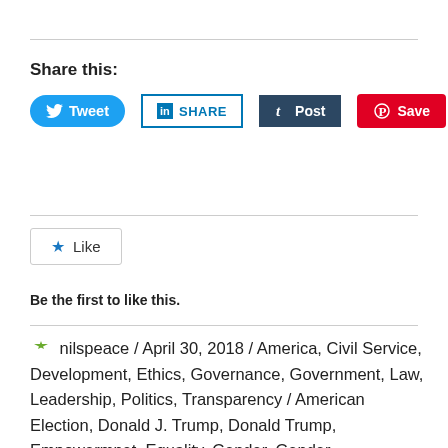Share this:
[Figure (other): Social share buttons: Tweet (Twitter), SHARE (LinkedIn), Post (Tumblr), Save (Pinterest)]
[Figure (other): Like button widget with star icon]
Be the first to like this.
nilspeace / April 30, 2018 / America, Civil Service, Development, Ethics, Governance, Government, Law, Leadership, Politics, Transparency / American Election, Donald J. Trump, Donald Trump, Empowermnet, Equality, Gender, Gender Empowerment, Gender Equality, HRC, Ivanka Trump, Melania Trump, Men, Michael Cohen, Michael J. Avenatti, Paul Ryan